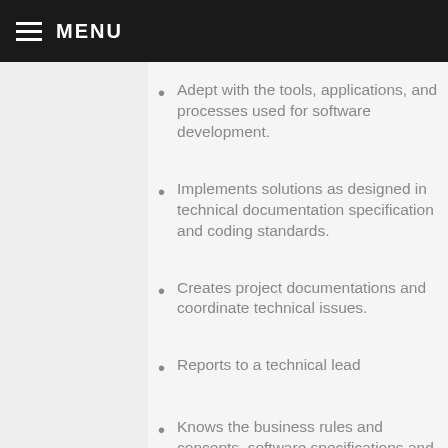≡ MENU
Adept with the tools, applications, and processes used for software development.
Implements solutions as designed in technical documentation specification and coding standards.
Creates project documentations and coordinate technical issues.
Reports to a technical lead
Knows the business rules and concepts, software specifications and designs provided by the technical lead and apply them in completing